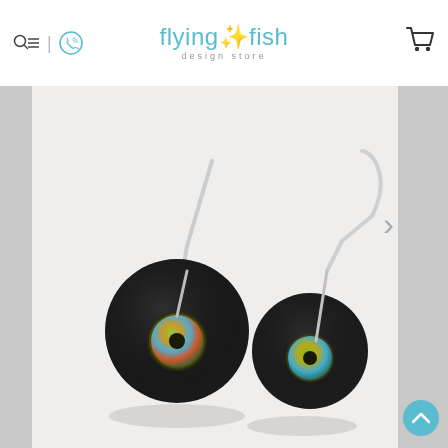flyingfish design store - navigation header with search/menu icon, phone icon, and shopping cart icon
[Figure (photo): Two pairs of black circular drop earrings with iridescent abalone shell centers and silver wire hooks, displayed on a white background.]